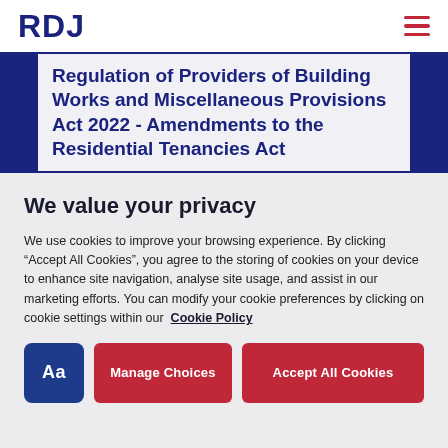RDJ
Regulation of Providers of Building Works and Miscellaneous Provisions Act 2022 - Amendments to the Residential Tenancies Act
We value your privacy
We use cookies to improve your browsing experience. By clicking “Accept All Cookies”, you agree to the storing of cookies on your device to enhance site navigation, analyse site usage, and assist in our marketing efforts. You can modify your cookie preferences by clicking on cookie settings within our Cookie Policy
Aa | Manage Choices | Accept All Cookies